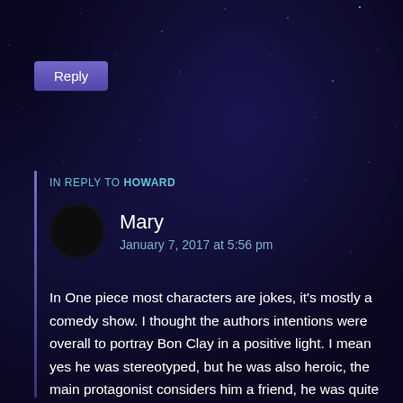[Figure (screenshot): Space/starfield dark background with purple nebula]
Reply
IN REPLY TO HOWARD
[Figure (illustration): Crescent moon avatar icon — dark circle with white crescent on left side]
Mary
January 7, 2017 at 5:56 pm
In One piece most characters are jokes, it's mostly a comedy show. I thought the authors intentions were overall to portray Bon Clay in a positive light. I mean yes he was stereotyped, but he was also heroic, the main protagonist considers him a friend, he was quite selfless and strongly believed in friendship.